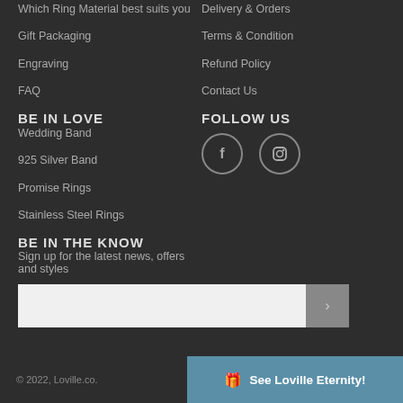Which Ring Material best suits you
Gift Packaging
Engraving
FAQ
BE IN LOVE
Wedding Band
925 Silver Band
Promise Rings
Stainless Steel Rings
BE IN THE KNOW
Sign up for the latest news, offers and styles
Delivery & Orders
Terms & Condition
Refund Policy
Contact Us
FOLLOW US
[Figure (other): Facebook and Instagram social media icons]
© 2022, Loville.co.
See Loville Eternity!